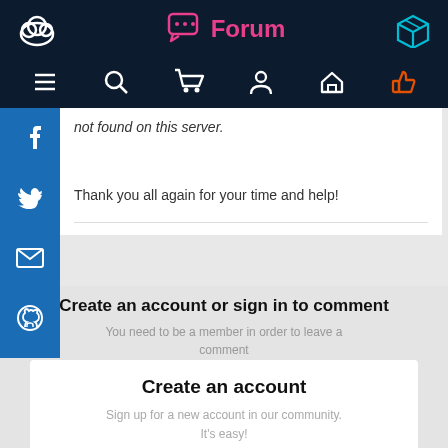[Figure (screenshot): Dark navy top navigation bar with a cloud/blob logo on the left, pink Forum label with chat icon in center, and a box icon on the right]
[Figure (screenshot): Second nav row with hamburger menu, search, cart, user, home, and thumbs-up icons in white and orange]
[Figure (screenshot): Blue left sidebar with social share icons: Facebook, Twitter, email, GitHub]
not found on this server.
Thank you all again for your time and help!
Create an account or sign in to comment
You need to be a member in order to leave a comment
Create an account
Sign up for a new account in our community. It's easy!